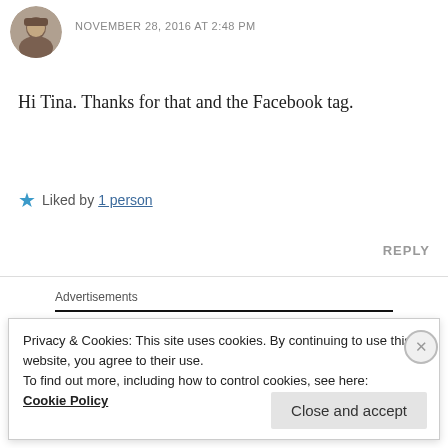[Figure (photo): Circular avatar photo of a person]
NOVEMBER 28, 2016 AT 2:48 PM
Hi Tina. Thanks for that and the Facebook tag.
★ Liked by 1 person
REPLY
Advertisements
Privacy & Cookies: This site uses cookies. By continuing to use this website, you agree to their use.
To find out more, including how to control cookies, see here:
Cookie Policy
Close and accept